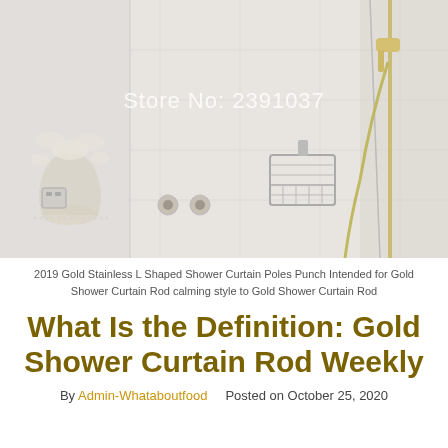[Figure (photo): Bathroom shower area with white marble-style tiles, gold/champagne colored shower head on a rail, chrome wire shower caddy basket mounted on wall, decorative floral tile motif on left wall, watermark text 'Store No: 2391037' overlaid on the image.]
2019 Gold Stainless L Shaped Shower Curtain Poles Punch Intended for Gold Shower Curtain Rod calming style to Gold Shower Curtain Rod
What Is the Definition: Gold Shower Curtain Rod Weekly
By Admin-Whataboutfood   Posted on October 25, 2020